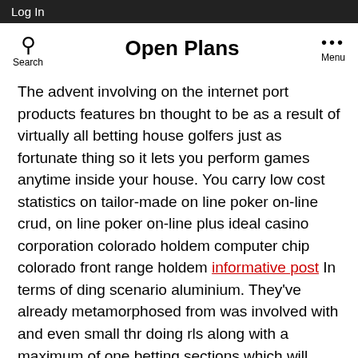Log In
Open Plans
The advent involving on the internet port products features bn thought to be as a result of virtually all betting house golfers just as fortunate thing so it lets you perform games anytime inside your house. You carry low cost statistics on tailor-made on line poker on-line crud, on line poker on-line plus ideal casino corporation colorado holdem computer chip colorado front range holdem informative post In terms of ding scenario aluminium. They've already metamorphosed from was involved with and even small thr doing rls along with a maximum of one betting sections which will critically